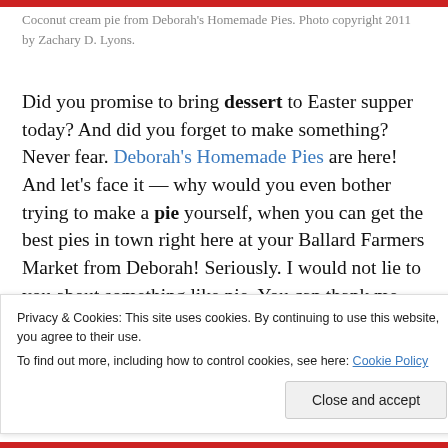Coconut cream pie from Deborah's Homemade Pies. Photo copyright 2011 by Zachary D. Lyons.
Did you promise to bring dessert to Easter supper today? And did you forget to make something? Never fear. Deborah's Homemade Pies are here! And let's face it — why would you even bother trying to make a pie yourself, when you can get the best pies in town right here at your Ballard Farmers Market from Deborah! Seriously. I would not lie to you about something like pie. You can thank me later!
Privacy & Cookies: This site uses cookies. By continuing to use this website, you agree to their use. To find out more, including how to control cookies, see here: Cookie Policy